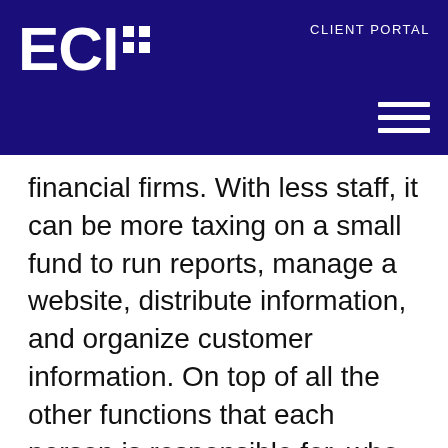ECI+ CLIENT PORTAL
financial firms. With less staff, it can be more taxing on a small fund to run reports, manage a website, distribute information, and organize customer information. On top of all the other functions that each person is responsible for, who has the time?
This website uses cookies
We use cookies on this website to give you the best possible experience. We hope you'll accept them. CCPA: We do not sell your personal information. For more information about how we use cookies, see our Privacy Policy.
Use necessary cookies only
Allow all cookies
Show details